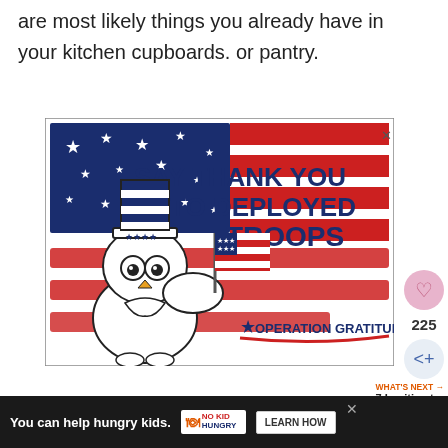are most likely things you already have in your kitchen cupboards. or pantry.
[Figure (illustration): Advertisement banner for Operation Gratitude showing an illustrated owl wearing Uncle Sam hat and holding an American flag, with red and blue brushstroke American flag background, text reading 'SAY THANK YOU TO DEPLOYED TROOPS' and 'OPERATION GRATITUDE' logo]
[Figure (infographic): Small profile photo thumbnail with 'WHAT'S NEXT →' label and '7 Legitimate' text]
You can help hungry kids. NO KID HUNGRY LEARN HOW